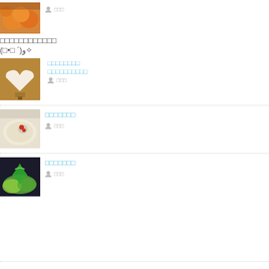[Figure (photo): Orange fruits thumbnail at top]
□□□
□□□□□□□□□□□□
(□•□ ´)و✧
[Figure (photo): Heart-shaped wooden object thumbnail]
□□□□□□□□
□□□□□□□□□□
□□□
[Figure (photo): Food/rice dish thumbnail]
□□□□□□□
□□□
[Figure (photo): Green artistic food/painting thumbnail]
□□□□□□□
□□□